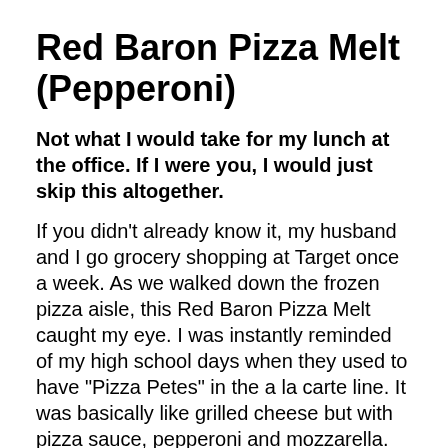Red Baron Pizza Melt (Pepperoni)
Not what I would take for my lunch at the office. If I were you, I would just skip this altogether.
If you didn't already know it, my husband and I go grocery shopping at Target once a week. As we walked down the frozen pizza aisle, this Red Baron Pizza Melt caught my eye. I was instantly reminded of my high school days when they used to have "Pizza Petes" in the a la carte line. It was basically like grilled cheese but with pizza sauce, pepperoni and mozzarella. So I thought I had to give